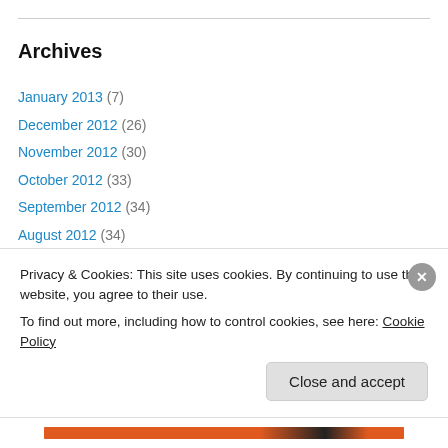Archives
January 2013 (7)
December 2012 (26)
November 2012 (30)
October 2012 (33)
September 2012 (34)
August 2012 (34)
July 2012 (31)
June 2012 (32)
May 2012 (50)
Privacy & Cookies: This site uses cookies. By continuing to use this website, you agree to their use. To find out more, including how to control cookies, see here: Cookie Policy
Close and accept